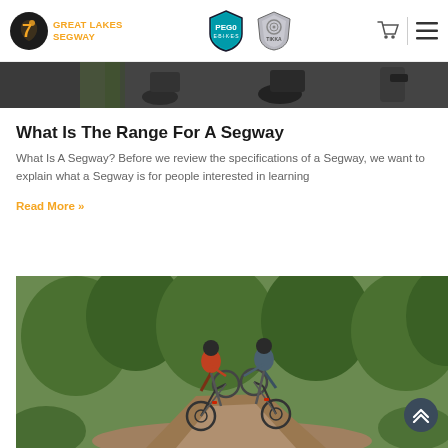GREAT LAKES SEGWAY — navigation header with Pedego and Tikka logos, cart icon, menu icon
[Figure (photo): Partial top image strip showing dark colored electric scooters or similar vehicles, cropped at top]
What Is The Range For A Segway
What Is A Segway? Before we review the specifications of a Segway, we want to explain what a Segway is for people interested in learning
Read More »
[Figure (photo): Two people wearing helmets standing with bicycles on a dirt trail surrounded by green trees and bushes, viewed from behind]